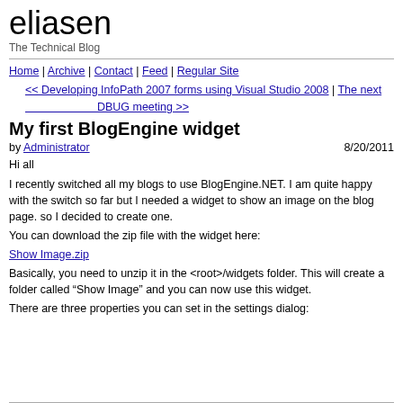eliasen
The Technical Blog
Home | Archive | Contact | Feed | Regular Site
<< Developing InfoPath 2007 forms using Visual Studio 2008 | The next DBUG meeting >>
My first BlogEngine widget
by Administrator  8/20/2011
Hi all
I recently switched all my blogs to use BlogEngine.NET. I am quite happy with the switch so far but I needed a widget to show an image on the blog page. so I decided to create one.
You can download the zip file with the widget here:
Show Image.zip
Basically, you need to unzip it in the <root>/widgets folder. This will create a folder called “Show Image” and you can now use this widget.
There are three properties you can set in the settings dialog: